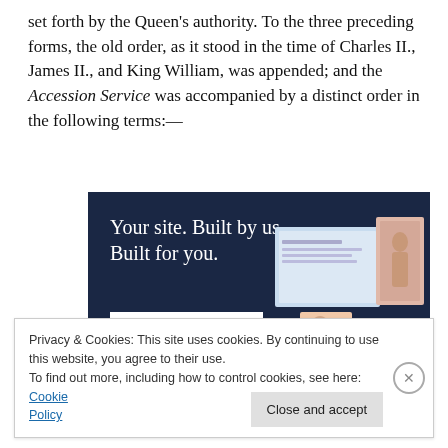set forth by the Queen's authority. To the three preceding forms, the old order, as it stood in the time of Charles II., James II., and King William, was appended; and the Accession Service was accompanied by a distinct order in the following terms:—
[Figure (other): Advertisement banner with dark navy background reading 'Your site. Built by us. Built for you.' with a 'Get a quote now' button and mockup website screenshots on the right side.]
Privacy & Cookies: This site uses cookies. By continuing to use this website, you agree to their use.
To find out more, including how to control cookies, see here: Cookie Policy